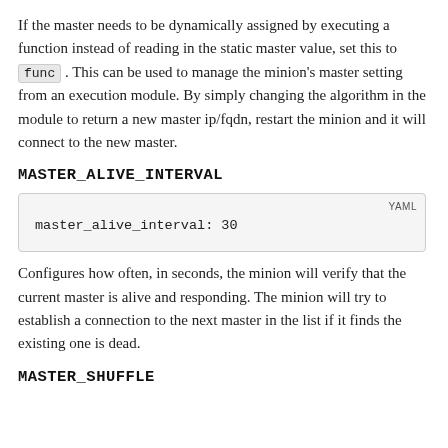If the master needs to be dynamically assigned by executing a function instead of reading in the static master value, set this to func . This can be used to manage the minion's master setting from an execution module. By simply changing the algorithm in the module to return a new master ip/fqdn, restart the minion and it will connect to the new master.
MASTER_ALIVE_INTERVAL
master_alive_interval: 30
Configures how often, in seconds, the minion will verify that the current master is alive and responding. The minion will try to establish a connection to the next master in the list if it finds the existing one is dead.
MASTER_SHUFFLE